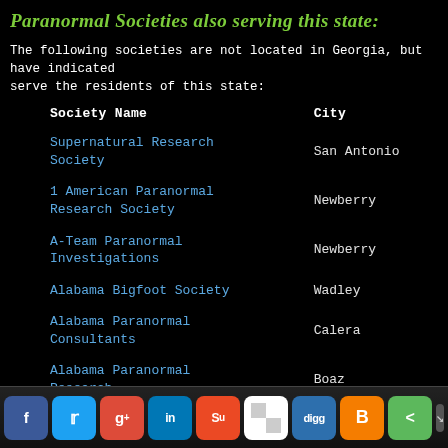Paranormal Societies also serving this state:
The following societies are not located in Georgia, but have indicated serve the residents of this state:
| Society Name | City |
| --- | --- |
| Supernatural Research Society | San Antonio |
| 1 American Paranormal Research Society | Newberry |
| A-Team Paranormal Investigations | Newberry |
| Alabama Bigfoot Society | Wadley |
| Alabama Paranormal Consultants | Calera |
| Alabama Paranormal Research | Boaz |
| Alabama Paranormal |  |
Social sharing bar: Facebook, Twitter, Google+, LinkedIn, StumbleUpon, Delicious, Digg, Blogger, Share